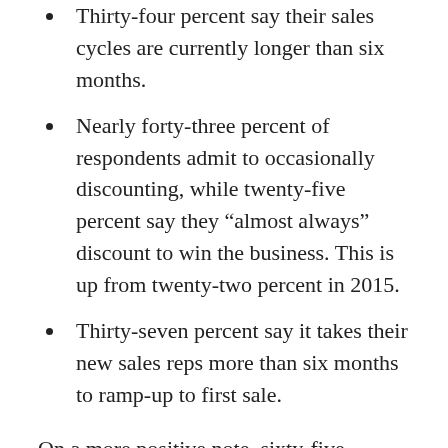Thirty-four percent say their sales cycles are currently longer than six months.
Nearly forty-three percent of respondents admit to occasionally discounting, while twenty-five percent say they “almost always” discount to win the business. This is up from twenty-two percent in 2015.
Thirty-seven percent say it takes their new sales reps more than six months to ramp-up to first sale.
On a more positive note, sixty-five percent still believe they will make their 2016 revenue target this year.
“These findings make clear sense since we often see